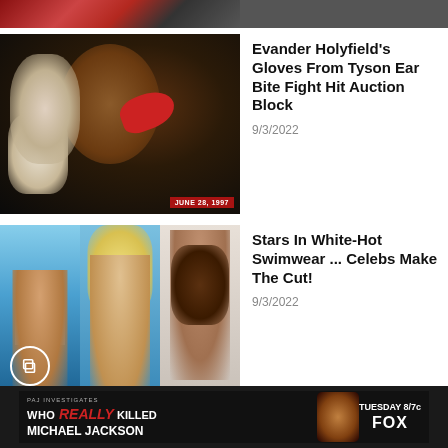[Figure (photo): Cropped top of a fighting/sports image, partially visible at the top of the page]
[Figure (photo): Boxing match photo showing Tyson biting Holyfield's ear, referee visible, dated JUNE 28, 1997]
Evander Holyfield's Gloves From Tyson Ear Bite Fight Hit Auction Block
9/3/2022
[Figure (photo): Three-panel collage of women in white swimwear]
Stars In White-Hot Swimwear ... Celebs Make The Cut!
9/3/2022
[Figure (photo): Advertisement banner: PAJ Investigates – Who REALLY KILLED MICHAEL JACKSON – TUESDAY 8/7c FOX]